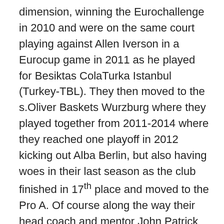dimension, winning the Eurochallenge in 2010 and were on the same court playing against Allen Iverson in a Eurocup game in 2011 as he played for Besiktas ColaTurka Istanbul (Turkey-TBL). They then moved to the s.Oliver Baskets Wurzburg where they played together from 2011-2014 where they reached one playoff in 2012 kicking out Alba Berlin, but also having woes in their last season as the club finished in 17th place and moved to the Pro A. Of course along the way their head coach and mentor John Patrick played a role in their staying together. Last season Little played in Ludwigsburg and Boone had his first experience outside Germany with Torku Konyaspor (Turkey-TBL). This season Boone moved to Ludwigsburg to be reunited with Patrick, but at times it seems like Boone is a part of the Fraport Skyliners as he is seen as often as possible at games supporting his good